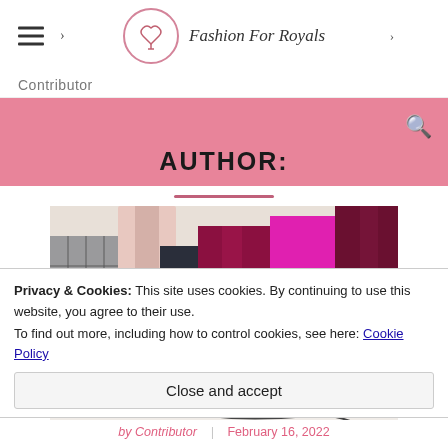Fashion For Royals
Contributor
AUTHOR:
[Figure (photo): Group of women wearing colorful silk midi skirts in various colors: grey plaid, black, burgundy/magenta, hot pink top with orange skirt, and dark burgundy]
Privacy & Cookies: This site uses cookies. By continuing to use this website, you agree to their use.
To find out more, including how to control cookies, see here: Cookie Policy
Close and accept
by Contributor | February 16, 2022